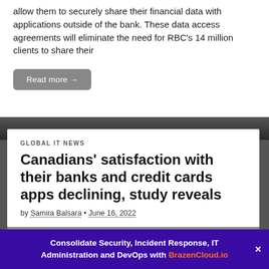allow them to securely share their financial data with applications outside of the bank. These data access agreements will eliminate the need for RBC's 14 million clients to share their
Read more →
GLOBAL IT NEWS
Canadians' satisfaction with their banks and credit cards apps declining, study reveals
by Samira Balsara • June 16, 2022
Consolidate Security, Incident Response, IT Administration and DevOps with BrazenCloud.io